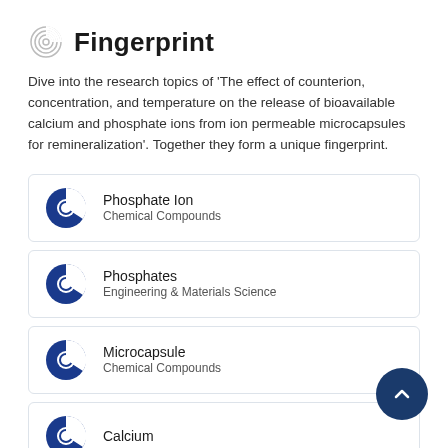Fingerprint
Dive into the research topics of 'The effect of counterion, concentration, and temperature on the release of bioavailable calcium and phosphate ions from ion permeable microcapsules for remineralization'. Together they form a unique fingerprint.
Phosphate Ion
Chemical Compounds
Phosphates
Engineering & Materials Science
Microcapsule
Chemical Compounds
Calcium